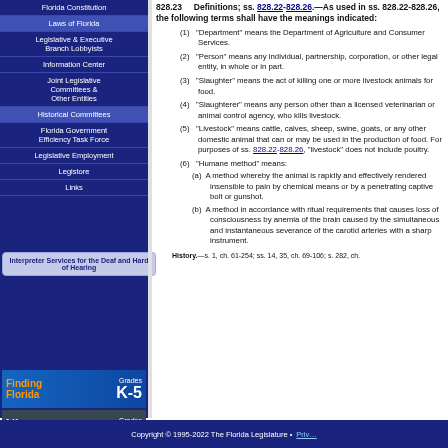Florida Constitution
Laws of Florida
Legislative & Executive Branch Lobbyists
Information Center
Joint Legislative Committees & Other Entities
Historical Committees
Florida Government Efficiency Task Force
Legislative Employment
Legistore
Links
Interpreter Services for the Deaf and Hard of Hearing
[Figure (infographic): Finding Florida Grades K-5 educational resource banner]
[Figure (infographic): Life as a Lawmaker Grades 6+ educational resource banner]
828.23 Definitions; ss. 828.22-828.26.
As used in ss. 828.22-828.26, the following terms shall have the meanings indicated:
(1) "Department" means the Department of Agriculture and Consumer Services.
(2) "Person" means any individual, partnership, corporation, or other legal entity, in whole or in part.
(3) "Slaughter" means the act of killing one or more livestock animals for food.
(4) "Slaughterer" means any person other than a licensed veterinarian or animal control agency, who kills livestock.
(5) "Livestock" means cattle, calves, sheep, swine, goats, or any other domestic animal that can or may be used in the production of food. For purposes of ss. 828.22-828.26, "livestock" does not include poultry.
(6) "Humane method" means:
(a) A method whereby the animal is rapidly and effectively rendered insensible to pain by chemical means or by a penetrating captive bolt or gunshot.
(b) A method in accordance with ritual requirements that causes loss of consciousness by anemia of the brain caused by the simultaneous and instantaneous severance of the carotid arteries with a sharp instrument.
History.—s. 1, ch. 61-254; ss. 14, 35, ch. 69-106; s. 282, ch.
Copyright © 1995-2022 The Florida Legislature • Privacy Statement